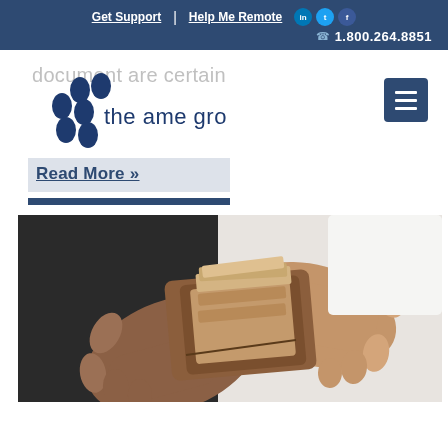Get Support | Help Me Remote  1.800.264.8851
document are certain
[Figure (logo): The AME Group logo with blue circular dot pattern and text 'the ame group']
[Figure (other): Hamburger/menu button icon (three horizontal lines) in dark blue square]
Read More »
[Figure (photo): Close-up photo of a person's hands opening a brown leather wallet showing cash inside]